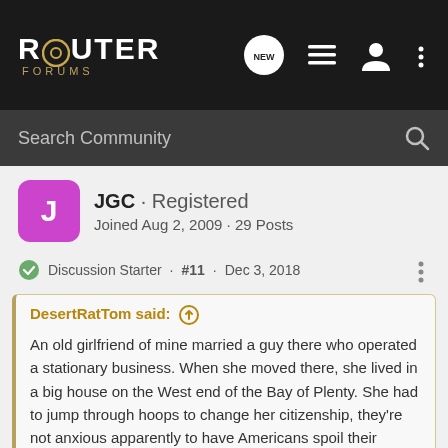ROUTER FORUMS
Search Community
JGC · Registered
Joined Aug 2, 2009 · 29 Posts
Discussion Starter · #11 · Dec 3, 2018
DesertRatTom said: ↑
An old girlfriend of mine married a guy there who operated a stationary business. When she moved there, she lived in a big house on the West end of the Bay of Plenty. She had to jump through hoops to change her citizenship, they're not anxious apparently to have Americans spoil their paradise.
The plane looks interesting. How is the iron? Thick or thin? Thinner is
Click to expand...
Your old girlfriend shouldn't take it to heart, they don't seem